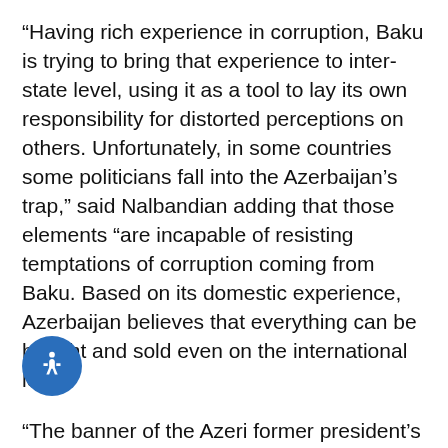“Having rich experience in corruption, Baku is trying to bring that experience to inter-state level, using it as a tool to lay its own responsibility for distorted perceptions on others. Unfortunately, in some countries some politicians fall into the Azerbaijan’s trap,” said Nalbandian adding that those elements “are incapable of resisting temptations of corruption coming from Baku. Based on its domestic experience, Azerbaijan believes that everything can be bought and sold even on the international level.”
“The banner of the Azeri former president’s monument is propagating that the former head of the KGB is a bright example of international peace, who led Azerbaijan to democracy. The actual truth is that various human rights organizations listed that country among the most corrupt anti-democratic countries and that it has become a champion of provoking war and threatening to use force,” added Nalbandian.
[Figure (illustration): Blue circular accessibility button with a white person/wheelchair icon]